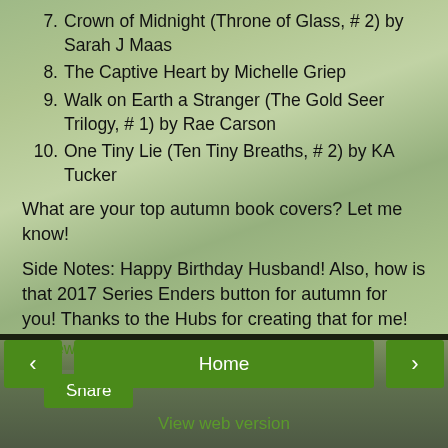7. Crown of Midnight (Throne of Glass, # 2) by Sarah J Maas
8. The Captive Heart by Michelle Griep
9. Walk on Earth a Stranger (The Gold Seer Trilogy, # 1) by Rae Carson
10. One Tiny Lie (Ten Tiny Breaths, # 2) by KA Tucker
What are your top autumn book covers? Let me know!
Side Notes: Happy Birthday Husband! Also, how is that 2017 Series Enders button for autumn for you! Thanks to the Hubs for creating that for me!
Somewhere Only We Know at 6:00 AM
Share
Home
View web version